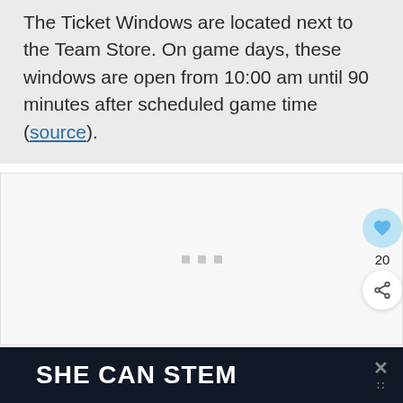The Ticket Windows are located next to the Team Store. On game days, these windows are open from 10:00 am until 90 minutes after scheduled game time (source).
[Figure (other): A white/light gray content block with three small gray dots in the center (loading placeholder or ad slot), with social media buttons on the right side: a heart/like button (blue circle with heart icon) showing count 20, and a share button (white circle with share icon).]
[Figure (infographic): Dark navy/black banner at the bottom reading 'SHE CAN STEM' in large bold white uppercase text, with an X close icon and additional small icons on the right side.]